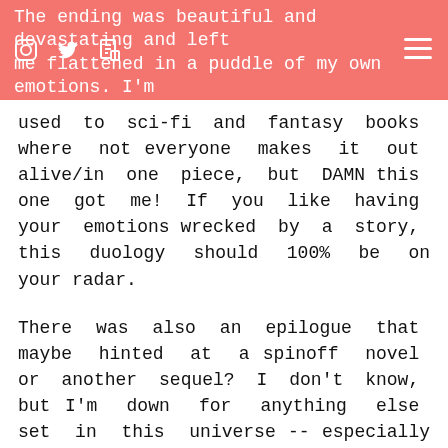The ending was beautiful and devastating and left me flattened in a puddle of my own emotions. I'm
used to sci-fi and fantasy books where not everyone makes it out alive/in one piece, but DAMN this one got me! If you like having your emotions wrecked by a story, this duology should 100% be on your radar.
There was also an epilogue that maybe hinted at a spinoff novel or another sequel? I don't know, but I'm down for anything else set in this universe -- especially if Zhade and Andra are in it.
Trigger and Content Warnings for Devil in the Device
This book may not be for you if you're sensitive to